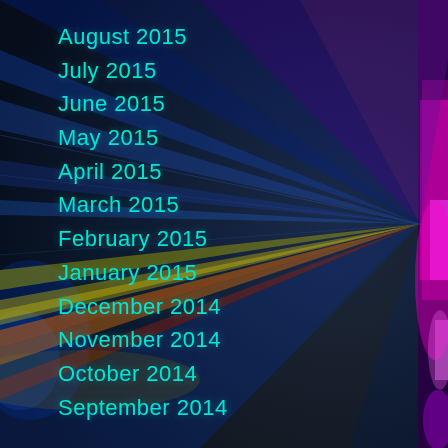August 2015
July 2015
June 2015
May 2015
April 2015
March 2015
February 2015
January 2015
December 2014
November 2014
October 2014
September 2014
[Figure (illustration): Dark blue background with colorful light rays (blue, purple, yellow, orange, red) emanating from a point on the right side of the image, creating a starburst or laser light effect on a dark navy background.]